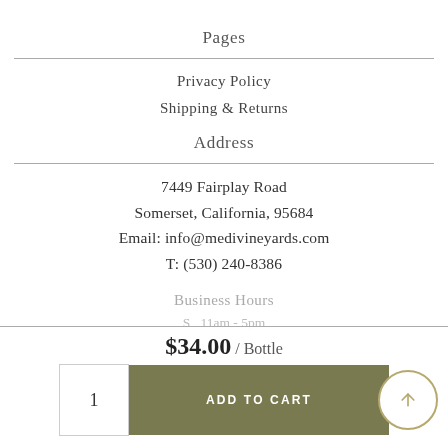Pages
Privacy Policy
Shipping & Returns
Address
7449 Fairplay Road
Somerset, California, 95684
Email: info@medivineyards.com
T: (530) 240-8386
Business Hours
$34.00 / Bottle
S  11am - 5pm
M 11am - 5pm
T  Closed
W Closed
1
ADD TO CART